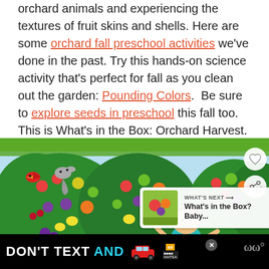orchard animals and experiencing the textures of fruit skins and shells. Here are some orchard fall preschool activities we've done in the past. Try this hands-on science activity that's perfect for fall as you clean out the garden: Pounding Colors.  Be sure to explore seeds in preschool this fall too. This is What's in the Box: Orchard Harvest.
[Figure (illustration): Colorful children's cartoon illustration of kids picking fruit in an orchard. Green trees filled with apples, oranges, lemons, plums, and cherries. A cartoon boy in a teal shirt stands in the center. A red cardinal and a gray squirrel are visible in the upper left. A red-haired child is visible at the bottom left.]